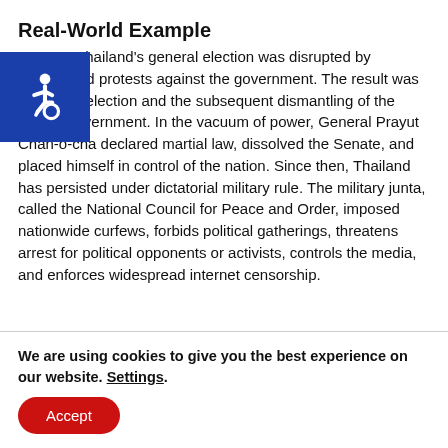Real-World Example
In 2014, Thailand's general election was disrupted by widespread protests against the government. The result was a nullified election and the subsequent dismantling of the civilian government. In the vacuum of power, General Prayut Chan-o-cha declared martial law, dissolved the Senate, and placed himself in control of the nation. Since then, Thailand has persisted under dictatorial military rule. The military junta, called the National Council for Peace and Order, imposed nationwide curfews, forbids political gatherings, threatens arrest for political opponents or activists, controls the media, and enforces widespread internet censorship.
[Figure (illustration): Blue square accessibility icon with white wheelchair symbol]
We are using cookies to give you the best experience on our website. Settings.
Accept